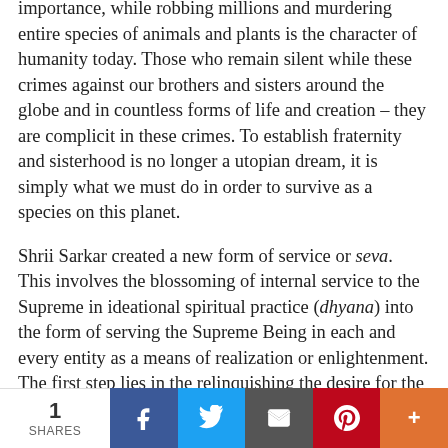importance, while robbing millions and murdering entire species of animals and plants is the character of humanity today. Those who remain silent while these crimes against our brothers and sisters around the globe and in countless forms of life and creation – they are complicit in these crimes. To establish fraternity and sisterhood is no longer a utopian dream, it is simply what we must do in order to survive as a species on this planet.
Shrii Sarkar created a new form of service or seva. This involves the blossoming of internal service to the Supreme in ideational spiritual practice (dhyana) into the form of serving the Supreme Being in each and every entity as a means of realization or enlightenment. The first step lies in the relinquishing the desire for the results of one's service (such as gratitude, fame, success, etc.). This selflessness only happens because of divine love and surrender. The second aspect lies in...
1 SHARES | Facebook | Twitter | Email | Pinterest | More